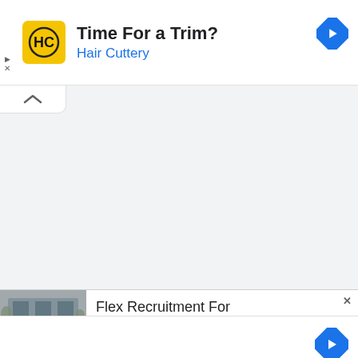[Figure (infographic): Hair Cuttery advertisement banner. Yellow square logo with HC monogram and circle, bold text 'Time For a Trim?' with blue subtext 'Hair Cuttery', blue diamond navigation arrow on right.]
[Figure (infographic): Collapse/minimize tab button with upward caret symbol.]
[Figure (infographic): Partial advertisement showing building photo and text 'Flex Recruitment For' with close X button.]
[Figure (infographic): Topgolf advertisement banner. Topgolf logo, bold text 'The Perfect Family Activity' with blue subtext 'Topgolf', blue diamond navigation arrow on right.]